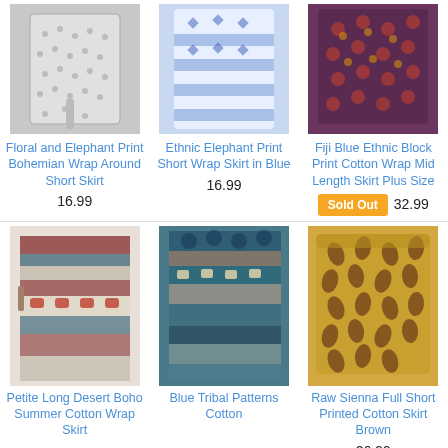[Figure (photo): Floral and elephant print bohemian wrap around short skirt - grey/white pattern]
Floral and Elephant Print Bohemian Wrap Around Short Skirt
16.99
[Figure (photo): Ethnic elephant print short wrap skirt in blue and white]
Ethnic Elephant Print Short Wrap Skirt in Blue
16.99
[Figure (photo): Fiji Blue Ethnic Block Print Cotton Wrap Mid Length Skirt Plus Size - dark blue/multi pattern]
Fiji Blue Ethnic Block Print Cotton Wrap Mid Length Skirt Plus Size
Sold Out  32.99
[Figure (photo): Petite Long Desert Boho Summer Cotton Wrap Skirt - striped red/blue/grey with camel motifs]
Petite Long Desert Boho Summer Cotton Wrap Skirt
[Figure (photo): Blue Tribal Patterns Cotton skirt - teal/blue/grey stripes with elephant motifs]
Blue Tribal Patterns Cotton
[Figure (photo): Raw Sienna Full Short Printed Cotton Skirt Brown - mustard/brown leaf pattern]
Raw Sienna Full Short Printed Cotton Skirt Brown
26.99